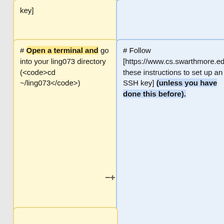key]
# Open a terminal and go into your ling073 directory (<code>cd ~/ling073</code>)
# Follow [https://www.cs.swarthmore.edu/~newhall/cs31/resources/githubsetup.html these instructions to set up an SSH key] (unless you have done this before).
# If you completed the wiki activity correctly and I'm keeping up with everyone, I'll have given you access to the [https://github.sw
# On the command line, go into your <code>ling073</code> directory (<code>cd ~/ling073</code>)